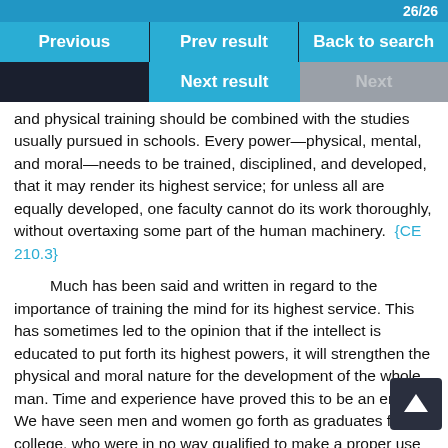26/26
Previous | Prev result | Back to search | Next result | Next
and physical training should be combined with the studies usually pursued in schools. Every power—physical, mental, and moral—needs to be trained, disciplined, and developed, that it may render its highest service; for unless all are equally developed, one faculty cannot do its work thoroughly, without overtaxing some part of the human machinery. {CE 210.3}
Much has been said and written in regard to the importance of training the mind for its highest service. This has sometimes led to the opinion that if the intellect is educated to put forth its highest powers, it will strengthen the physical and moral nature for the development of the whole man. Time and experience have proved this to be an error. We have seen men and women go forth as graduates from college, who were in no way qualified to make a proper use of the wonderful physical organism which God had provided them. The whole body is designed for action, not for inaction. If the physical powers are not taxed equally with the mental, too much strain is brought upon the latter. Unless every part of the human machinery performs its